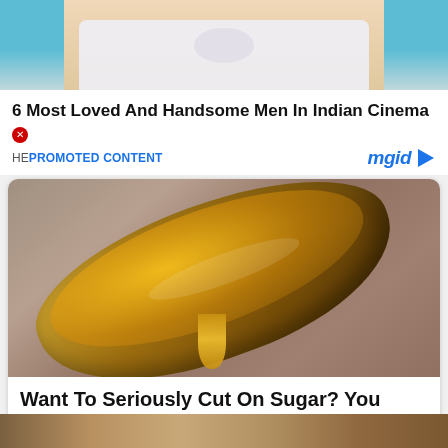[Figure (photo): Top portion of a person wearing a white floral shirt, cropped, with teal/blue background]
6 Most Loved And Handsome Men In Indian Cinema
HE PROMOTED CONTENT
[Figure (logo): mgid logo with play button triangle in blue]
[Figure (photo): Close-up photo of a golden spoon full of honey with dripping honey, blurred grey background]
Want To Seriously Cut On Sugar? You Need To Know A Few Tricks
Herbeauty
[Figure (photo): Partial bottom strip showing another image, cut off at bottom of page]